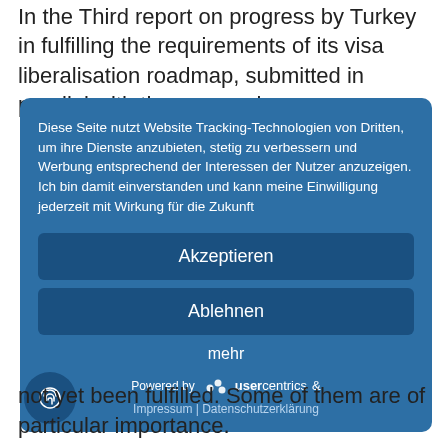In the Third report on progress by Turkey in fulfilling the requirements of its visa liberalisation roadmap, submitted in parallel with the proposal
[Figure (screenshot): Cookie consent overlay dialog in German on a blue background with 'Akzeptieren' and 'Ablehnen' buttons, 'mehr' link, and Usercentrics branding]
not yet been fulfilled. Some of them are of particular importance.